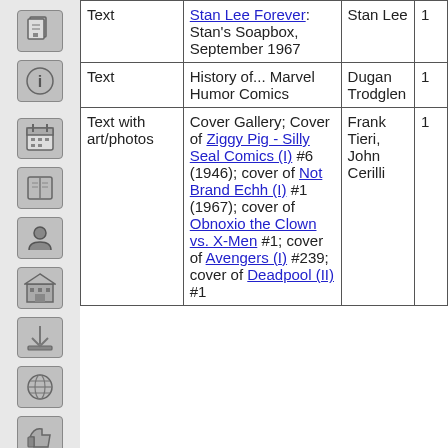| Type | Title/Description | Creator | Count |
| --- | --- | --- | --- |
| Text | Stan Lee Forever: Stan's Soapbox, September 1967 | Stan Lee | 1 |
| Text | History of... Marvel Humor Comics | Dugan Trodglen | 1 |
| Text with art/photos | Cover Gallery; Cover of Ziggy Pig - Silly Seal Comics (I) #6 (1946); cover of Not Brand Echh (I) #1 (1967); cover of Obnoxio the Clown vs. X-Men #1; cover of Avengers (I) #239; cover of Deadpool (II) #1 | Frank Tieri, John Cerilli | 1 |